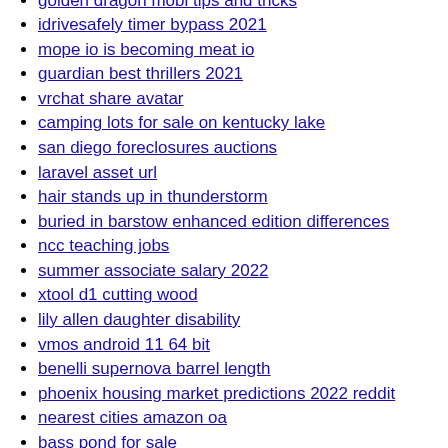golden dragon mobi tips and tricks
idrivesafely timer bypass 2021
mope io is becoming meat io
guardian best thrillers 2021
vrchat share avatar
camping lots for sale on kentucky lake
san diego foreclosures auctions
laravel asset url
hair stands up in thunderstorm
buried in barstow enhanced edition differences
ncc teaching jobs
summer associate salary 2022
xtool d1 cutting wood
lily allen daughter disability
vmos android 11 64 bit
benelli supernova barrel length
phoenix housing market predictions 2022 reddit
nearest cities amazon oa
bass pond for sale
what year jeep wrangler is the best
ninebot scooter repair near me
himiway cruiser parts list
fl lotto hit or miss
perfect express bus to graton
pscp speed limit